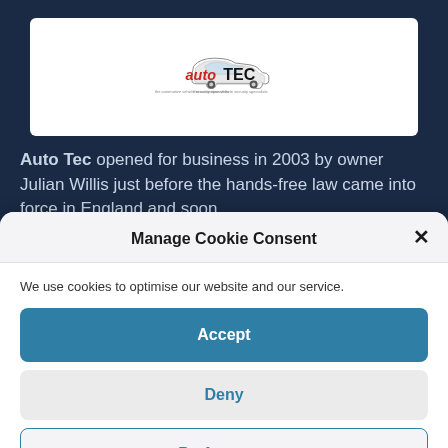[Figure (logo): autoTEC logo — red 'auto' and bold black 'TEC' with a car silhouette graphic and tagline]
Auto Tec opened for business in 2003 by owner Julian Willis just before the hands-free law came into force in England and soon
Manage Cookie Consent
We use cookies to optimise our website and our service.
Accept
Deny
Preferences
Cookie Policy  Privacy Policy